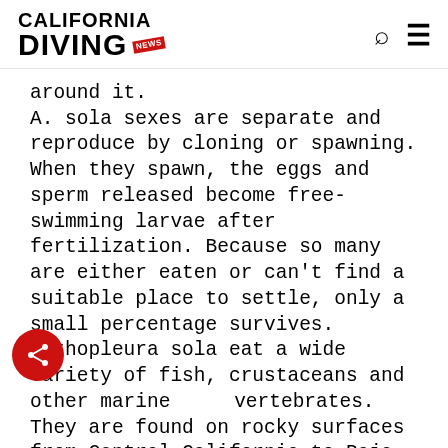California Diving News
around it. A. sola sexes are separate and reproduce by cloning or spawning. When they spawn, the eggs and sperm released become free-swimming larvae after fertilization. Because so many are either eaten or can't find a suitable place to settle, only a small percentage survives. Anthopleura sola eat a wide variety of fish, crustaceans and other marine vertebrates. They are found on rocky surfaces from Central California to Baja. This hardy species is unfazed by